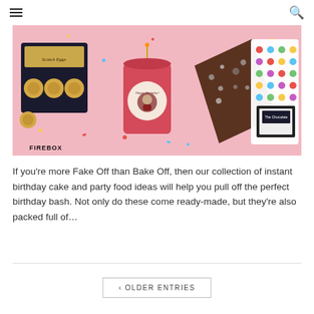☰  🔍
[Figure (photo): Firebox birthday party food items on a pink background including scotch eggs in a box, a Happy Birthday personalised cake in a jar, a chocolate bark slice, and a polka-dot chocolate bar packaging. FIREBOX logo visible bottom-left.]
If you're more Fake Off than Bake Off, then our collection of instant birthday cake and party food ideas will help you pull off the perfect birthday bash. Not only do these come ready-made, but they're also packed full of...
‹ OLDER ENTRIES